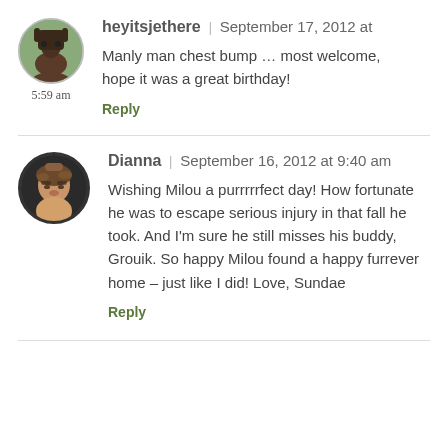heyitsjethere | September 17, 2012 at 5:59 am
Manly man chest bump … most welcome, hope it was a great birthday!
Reply
Dianna | September 16, 2012 at 9:40 am
Wishing Milou a purrrrrfect day! How fortunate he was to escape serious injury in that fall he took. And I'm sure he still misses his buddy, Grouik. So happy Milou found a happy furrever home – just like I did! Love, Sundae
Reply